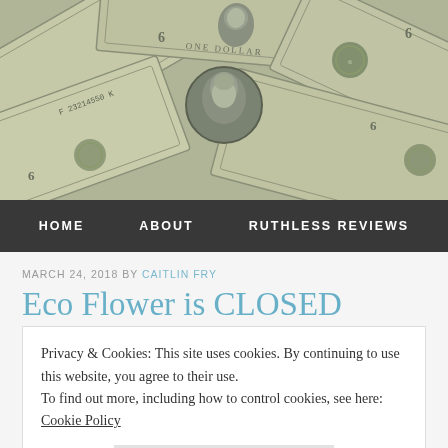[Figure (photo): Overhead photo of multiple overlapping US one dollar bills spread out, showing portraits of George Washington and green seals, with serial number 23214550K visible on one bill]
HOME   ABOUT   RUTHLESS REVIEWS
MARCH 24, 2018 BY CAITLIN FRY
Eco Flower is CLOSED
Privacy & Cookies: This site uses cookies. By continuing to use this website, you agree to their use.
To find out more, including how to control cookies, see here: Cookie Policy
Close and accept
money